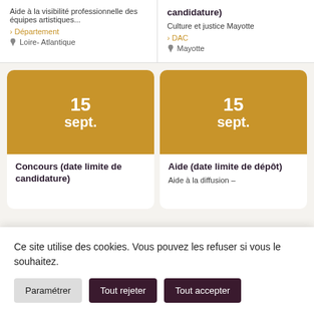Aide à la visibilité professionnelle des équipes artistiques...
› Département
Loire-Atlantique
candidature)
Culture et justice Mayotte
› DAC
Mayotte
15 sept.
Concours (date limite de candidature)
15 sept.
Aide (date limite de dépôt)
Aide à la diffusion –
Ce site utilise des cookies. Vous pouvez les refuser si vous le souhaitez.